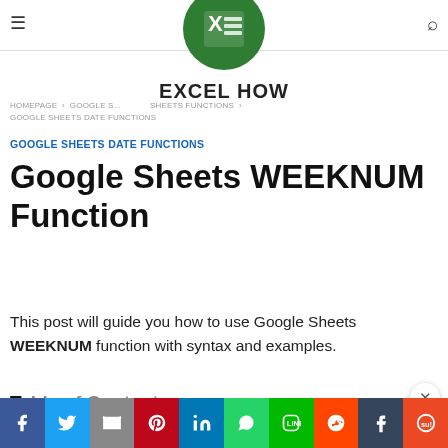EXCEL HOW
HOMEPAGE > GOOGLE SHEETS > GOOGLE SHEETS FUNCTIONS > GOOGLE SHEETS DATE FUNCTIONS
EXCEL HOW
GOOGLE SHEETS DATE FUNCTIONS
Google Sheets WEEKNUM Function
This post will guide you how to use Google Sheets WEEKNUM function with syntax and examples.
Table of Contents